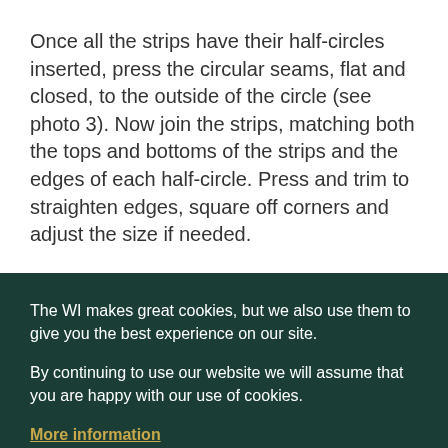Once all the strips have their half-circles inserted, press the circular seams, flat and closed, to the outside of the circle (see photo 3). Now join the strips, matching both the tops and bottoms of the strips and the edges of each half-circle. Press and trim to straighten edges, square off corners and adjust the size if needed.
The WI makes great cookies, but we also use them to give you the best experience on our site.
By continuing to use our website we will assume that you are happy with our use of cookies.
More information
Accept
Refuse